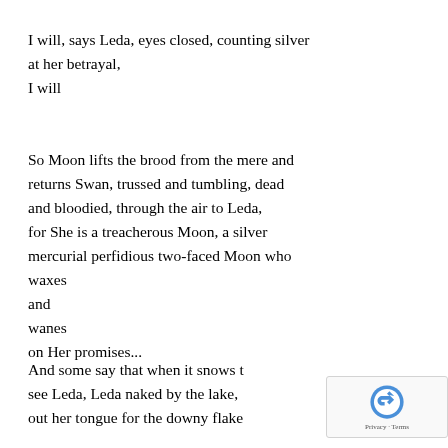I will, says Leda, eyes closed, counting silver at her betrayal,
I will
So Moon lifts the brood from the mere and returns Swan, trussed and tumbling, dead and bloodied, through the air to Leda, for She is a treacherous Moon, a silver mercurial perfidious two-faced Moon who waxes
and
wanes
on Her promises...
And some say that when it snows they see Leda, Leda naked by the lake, out her tongue for the downy flakes...